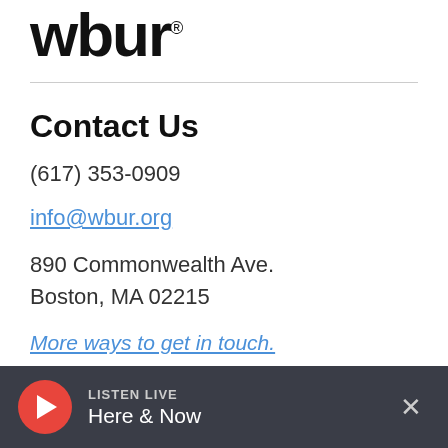[Figure (logo): WBUR logo in large bold black text with trademark symbol]
Contact Us
(617) 353-0909
info@wbur.org
890 Commonwealth Ave.
Boston, MA 02215
More ways to get in touch.
LISTEN LIVE Here & Now